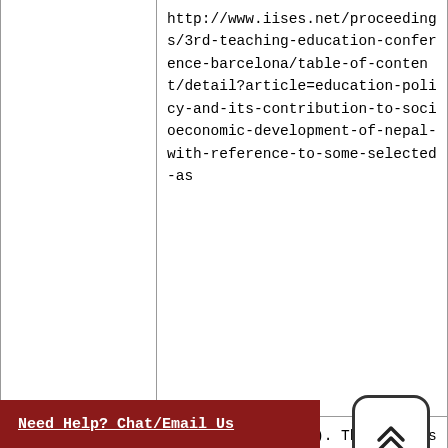| Type | Reference |
| --- | --- |
|  | http://www.iises.net/proceedings/3rd-teaching-education-conference-barcelona/table-of-content/detail?article=education-policy-and-its-contribution-to-socioeconomic-development-of-nepal-with-reference-to-some-selected-as |
| Paper from published conference proceedings available in print | Arem, G. L. (2006). The effects of teaching and playing experience on ability to diagnose a motor skill. In P. Brewer & Firmin, M. (Eds.), Ethnographic and qualitative research in education: Proceedings of the seventeenth annual conference (pp.1-20). Newcastle, UK: Cambridge Scholars Press. |
|  | ...llebot, C. (2019, April). |